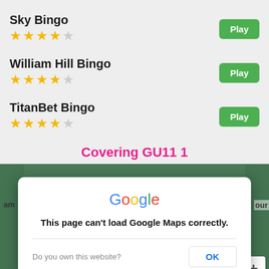Sky Bingo ★★★★☆
Play
William Hill Bingo ★★★★☆
Play
TitanBet Bingo ★★★★☆
Play
Covering GU11 1
[Figure (screenshot): Google Maps area showing Farnham region with a dialog box overlay saying 'This page can't load Google Maps correctly.' with an OK button and 'Do you own this website?' text. A + zoom button is visible in the bottom right.]